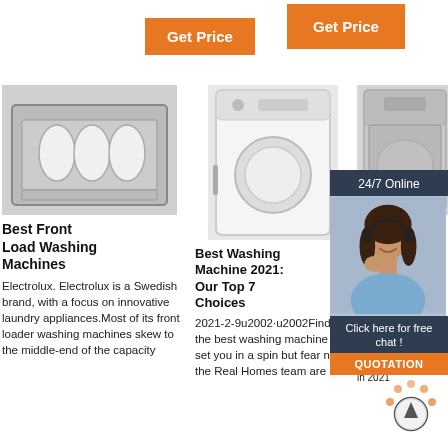[Figure (screenshot): Orange Get Price buttons at top of page]
[Figure (photo): Dishwasher with open door showing rack and dishes]
Best Front Load Washing Machines
Electrolux. Electrolux is a Swedish brand, with a focus on innovative laundry appliances.Most of its front loader washing machines skew to the middle-end of the capacity
[Figure (photo): Front-loading washing machine, white, standing upright]
Best Washing Machine 2021: Our Top 7 Choices
2021-2-9u2002·u2002Finding the best washing machine can set you in a spin but fear not, the Real Homes team are
[Figure (photo): Top loading washing machine, stainless steel]
Best Top Loading Washing Machines In 2021 As Reviewed
2021-11-23u2002·u2002The 20 best Top Loading Washing Machines in 2021
[Figure (photo): Customer service representative woman with headset - 24/7 Online chat widget with QUOTATION button]